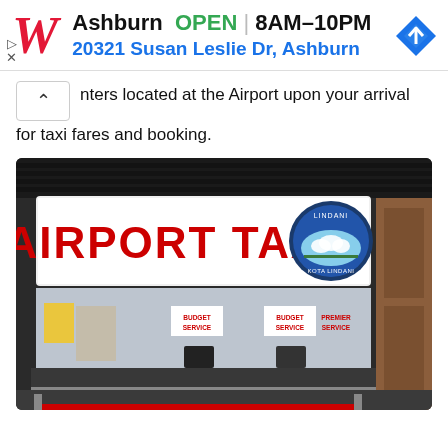[Figure (screenshot): Walgreens advertisement banner showing the Walgreens cursive W logo, location 'Ashburn', status 'OPEN', hours '8AM–10PM', address '20321 Susan Leslie Dr, Ashburn', and a blue navigation diamond icon]
nters located at the Airport upon your arrival for taxi fares and booking.
[Figure (photo): Interior photo of an Airport Taxi counter with a large illuminated sign reading 'AIRPORT TAXI' in red letters, with an oval logo on the right. Below the sign is a glass-partitioned service counter with signs for 'BUDGET SERVICE' and 'PREMIER SERVICE'.]